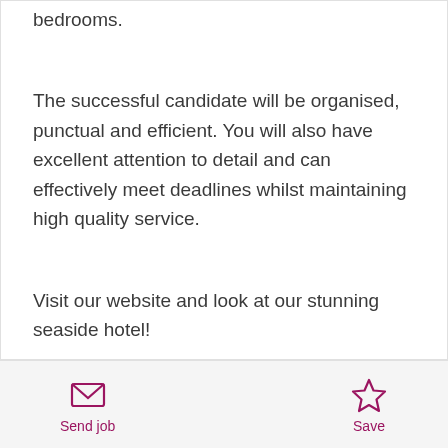bedrooms.
The successful candidate will be organised, punctual and efficient. You will also have excellent attention to detail and can effectively meet deadlines whilst maintaining high quality service.
Visit our website and look at our stunning seaside hotel!
This position offers the opportunity for you to work in
Send job | Save